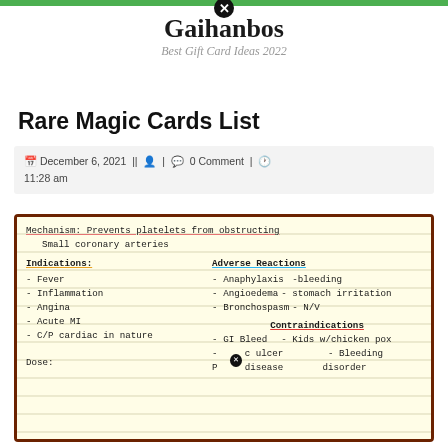Gaihanbos — Best Gift Card Ideas 2022
Rare Magic Cards List
December 6, 2021 || [user icon] | [comment icon] 0 Comment | [clock icon] 11:28 am
[Figure (photo): Handwritten medical note card on lined yellow paper with brown border. Shows: Mechanism: Prevents platelets from obstructing small coronary arteries. Indications (underlined orange): Fever, Inflammation, Angina, Acute MI, C/P cardiac in nature. Adverse Reactions (underlined blue): Anaphylaxis - bleeding, Angioedema - stomach irritation, Bronchospasm - N/V. Contraindications (underlined red): GI Bleed - Kids w/chicken pox, Peptic ulcer disease - Bleeding disorder. Dose:]